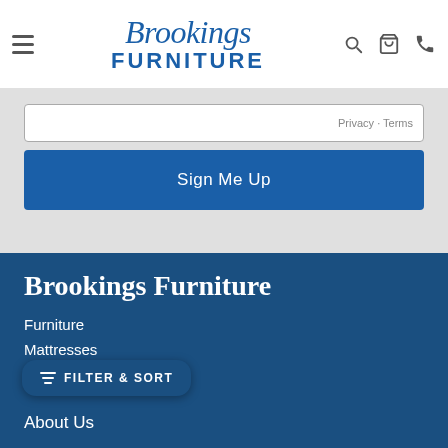Brookings Furniture
Privacy · Terms
Sign Me Up
Brookings Furniture
Furniture
Mattresses
S
FILTER & SORT
About Us